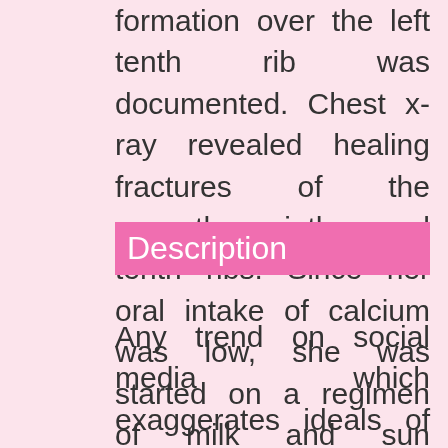formation over the left tenth rib was documented. Chest x-ray revealed healing fractures of the seventh, ninth, and tenth ribs. Since her oral intake of calcium was low, she was started on a regimen of milk and sun bathing. We postulate her rib fractures were the result of forced vomiting in an individual with fragile bones.
Description
Any trend on social media which exaggerates ideals of perfectionism, beauty, and harmful health habits should be considered dangerous. Facebook and Instagram have taken great strides in recent years to combat pro-eating disorder groups and hashtags in order to regulate the harmful messages which can quickly become viral.